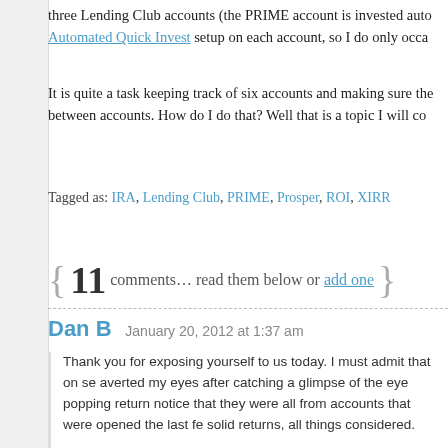three Lending Club accounts (the PRIME account is invested auto Automated Quick Invest setup on each account, so I do only occa
It is quite a task keeping track of six accounts and making sure the between accounts. How do I do that? Well that is a topic I will co
Tagged as: IRA, Lending Club, PRIME, Prosper, ROI, XIRR
{ 11 comments… read them below or add one }
Dan B  January 20, 2012 at 1:37 am
Thank you for exposing yourself to us today. I must admit that on se averted my eyes after catching a glimpse of the eye popping return notice that they were all from accounts that were opened the last fe solid returns, all things considered.
Would it be accurate to state that with the exception of money adde